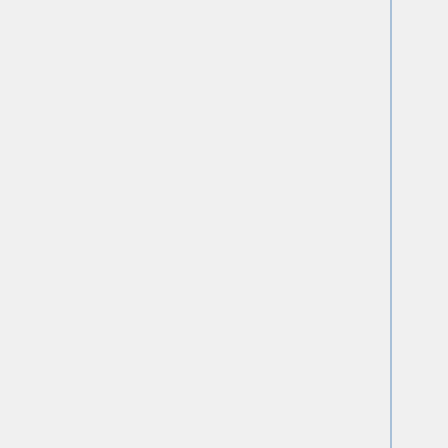| City | Name | Description |
| --- | --- | --- |
| Nancy | grouille | exotic job type |
| Nancy | grue | production que... |
| Nancy | gruss | production que... |
| Nancy | grvingt | production que... |
| Nantes | econome |  |
| Nantes | ecotype |  |
| Rennes | paranoia |  |
| Rennes | parasilo |  |